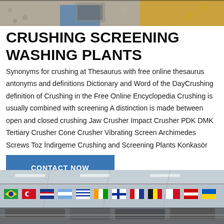[Figure (photo): Close-up photo of crushed stone/gravel with yellow and blue machinery visible at the top]
CRUSHING SCREENING WASHING PLANTS
Synonyms for crushing at Thesaurus with free online thesaurus antonyms and definitions Dictionary and Word of the DayCrushing definition of Crushing in the Free Online Encyclopedia Crushing is usually combined with screening A distinction is made between open and closed crushing Jaw Crusher Impact Crusher PDK DMK Tertiary Crusher Cone Crusher Vibrating Screen Archimedes Screws Toz İndirgeme Crushing and Screening Plants Konkasör
CONTACT NOW
[Figure (photo): Interior of an industrial exhibition hall with international flags hanging from the ceiling and machinery on display]